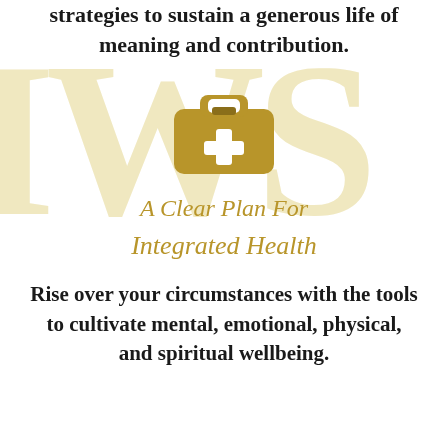strategies to sustain a generous life of meaning and contribution.
[Figure (illustration): Gold medical kit / first aid bag icon with a white cross on the front]
A Clear Plan For Integrated Health
Rise over your circumstances with the tools to cultivate mental, emotional, physical, and spiritual wellbeing.